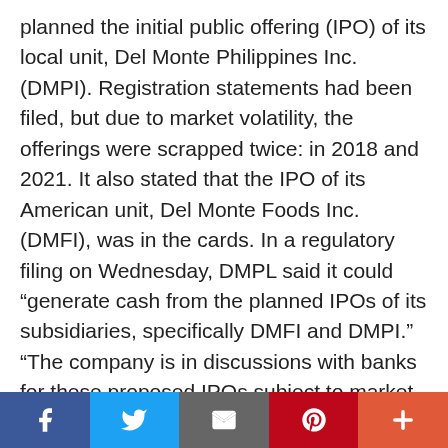planned the initial public offering (IPO) of its local unit, Del Monte Philippines Inc. (DMPI). Registration statements had been filed, but due to market volatility, the offerings were scrapped twice: in 2018 and 2021. It also stated that the IPO of its American unit, Del Monte Foods Inc. (DMFI), was in the cards. In a regulatory filing on Wednesday, DMPL said it could “generate cash from the planned IPOs of its subsidiaries, specifically DMFI and DMPI.” “The company is in discussions with banks for these proposed IPOs subject to market conditions. This is expected to generate substantial cash for debt repayment,” it added. As of end-April, DMPL’s shareholders’ equity stood at $494 million.
Share bar: Facebook, Twitter, Email, Pinterest, More